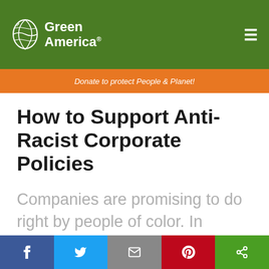Green America
Donate to protect People & Planet!
How to Support Anti-Racist Corporate Policies
Companies are promising to do right by people of color. In turning those promises into action, shareholders have a big part to play.
Social share bar: Facebook, Twitter, Email, Pinterest, Share